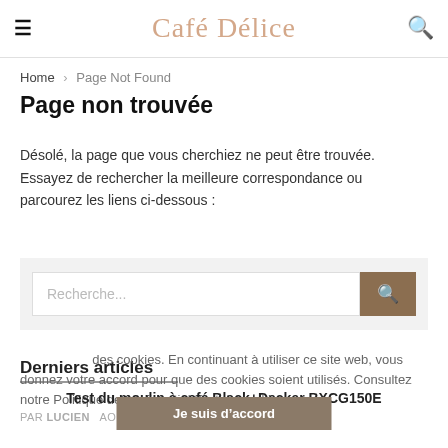Café Délice
Home › Page Not Found
Page non trouvée
Désolé, la page que vous cherchiez ne peut être trouvée. Essayez de rechercher la meilleure correspondance ou parcourez les liens ci-dessous :
Recherche...
Derniers articles
ce site web utilise des cookies. En continuant à utiliser ce site web, vous donnez votre accord pour que des cookies soient utilisés. Consultez notre Politique de confidentialité et de cookies
Test du moulin à café Black+Decker BXCG150E
PAR LUCIEN   AOÛT AOÛT 2021   0
Je suis d'accord